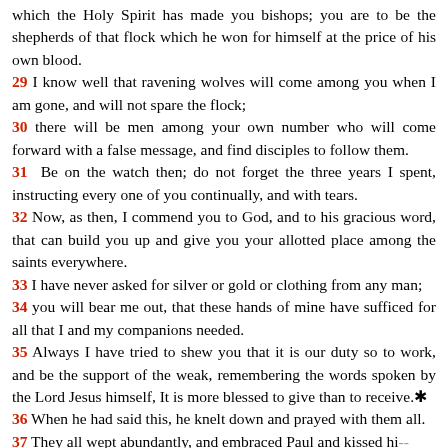which the Holy Spirit has made you bishops; you are to be the shepherds of that flock which he won for himself at the price of his own blood.
29 I know well that ravening wolves will come among you when I am gone, and will not spare the flock;
30 there will be men among your own number who will come forward with a false message, and find disciples to follow them.
31 Be on the watch then; do not forget the three years I spent, instructing every one of you continually, and with tears.
32 Now, as then, I commend you to God, and to his gracious word, that can build you up and give you your allotted place among the saints everywhere.
33 I have never asked for silver or gold or clothing from any man;
34 you will bear me out, that these hands of mine have sufficed for all that I and my companions needed.
35 Always I have tried to shew you that it is our duty so to work, and be the support of the weak, remembering the words spoken by the Lord Jesus himself, It is more blessed to give than to receive.*
36 When he had said this, he knelt down and prayed with them all.
37 They all wept abundantly, and embraced Paul and kissed hi--
38 grieving most over what he had said about never seeing h again. And so they escorted him to the ship.